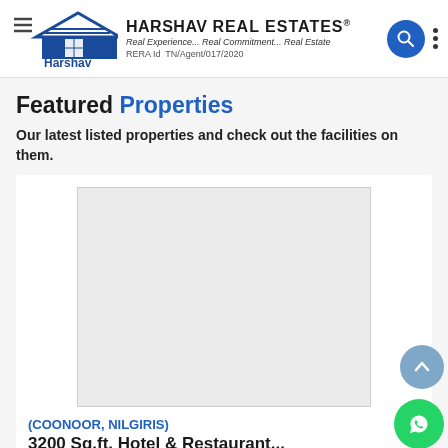HARSHAV REAL ESTATES® Real Experience... Real Commitment... Real Estate RERA Id TN/Agent/017/2020
Featured Properties
Our latest listed properties and check out the facilities on them.
[Figure (photo): Empty light gray property image placeholder box]
(COONOOR, NILGIRIS)
3200 Sq.ft. Hotel & Restaurant...